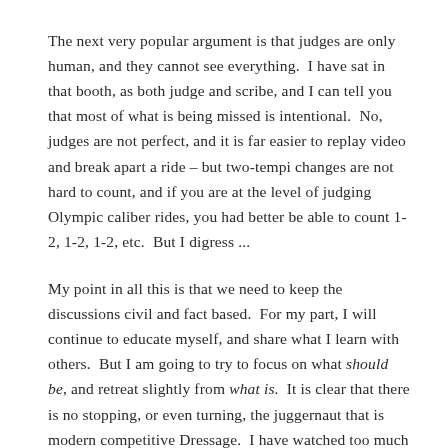The next very popular argument is that judges are only human, and they cannot see everything. I have sat in that booth, as both judge and scribe, and I can tell you that most of what is being missed is intentional. No, judges are not perfect, and it is far easier to replay video and break apart a ride – but two-tempi changes are not hard to count, and if you are at the level of judging Olympic caliber rides, you had better be able to count 1-2, 1-2, 1-2, etc. But I digress ...
My point in all this is that we need to keep the discussions civil and fact based. For my part, I will continue to educate myself, and share what I learn with others. But I am going to try to focus on what should be, and retreat slightly from what is. It is clear that there is no stopping, or even turning, the juggernaut that is modern competitive Dressage. I have watched too much damage done to horses in other equestrian endeavors that turn